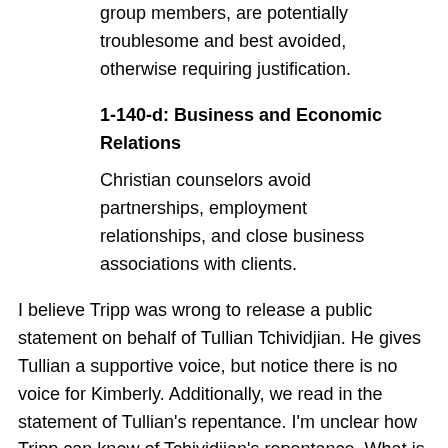group members, are potentially troublesome and best avoided, otherwise requiring justification.
1-140-d: Business and Economic Relations
Christian counselors avoid partnerships, employment relationships, and close business associations with clients.
I believe Tripp was wrong to release a public statement on behalf of Tullian Tchividjian. He gives Tullian a supportive voice, but notice there is no voice for Kimberly. Additionally, we read in the statement of Tullian's repentance. I'm unclear how Tripp can know of Tchividjian's repentance. What is he basing it on – Tullian's words alone? Aren't they living in different states? Has he inquired of Tchividjian's friends and family to see this repentance in action? Furthermore, Tchividjian, by the vow